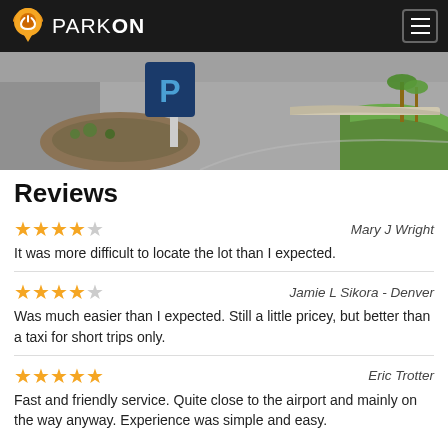PARKON
[Figure (photo): Parking lot with signage, curved driveway, palm trees and green grass island visible.]
Reviews
★★★★☆ Mary J Wright — It was more difficult to locate the lot than I expected.
★★★★☆ Jamie L Sikora - Denver — Was much easier than I expected. Still a little pricey, but better than a taxi for short trips only.
★★★★★ Eric Trotter — Fast and friendly service. Quite close to the airport and mainly on the way anyway. Experience was simple and easy.